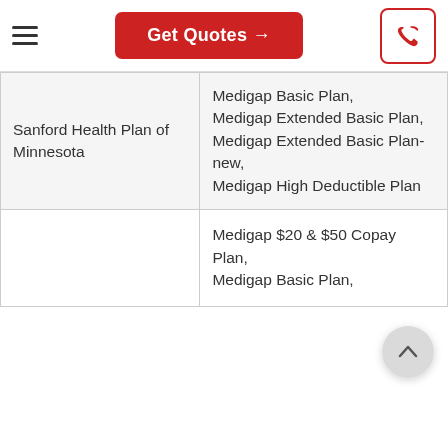Get Quotes →
| Insurer | Plans |
| --- | --- |
| Sanford Health Plan of Minnesota | Medigap Basic Plan, Medigap Extended Basic Plan, Medigap Extended Basic Plan-new, Medigap High Deductible Plan |
|  | Medigap $20 & $50 Copay Plan, Medigap Basic Plan, |